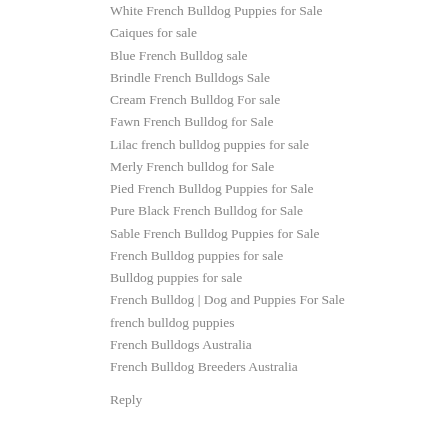White French Bulldog Puppies for Sale
Caiques for sale
Blue French Bulldog sale
Brindle French Bulldogs Sale
Cream French Bulldog For sale
Fawn French Bulldog for Sale
Lilac french bulldog puppies for sale
Merly French bulldog for Sale
Pied French Bulldog Puppies for Sale
Pure Black French Bulldog for Sale
Sable French Bulldog Puppies for Sale
French Bulldog puppies for sale
Bulldog puppies for sale
French Bulldog | Dog and Puppies For Sale
french bulldog puppies
French Bulldogs Australia
French Bulldog Breeders Australia
Reply